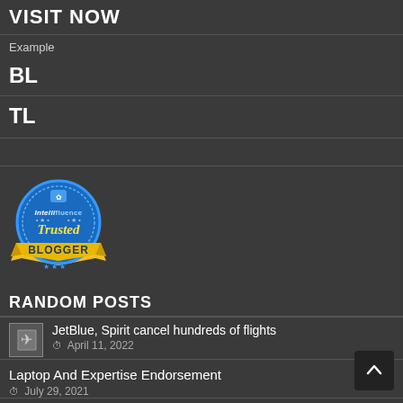VISIT NOW
Example
BL
TL
[Figure (logo): Intellifluence Trusted Blogger badge - circular blue badge with yellow ribbon banner reading BLOGGER and italic text Trusted]
RANDOM POSTS
JetBlue, Spirit cancel hundreds of flights
April 11, 2022
Laptop And Expertise Endorsement
July 29, 2021